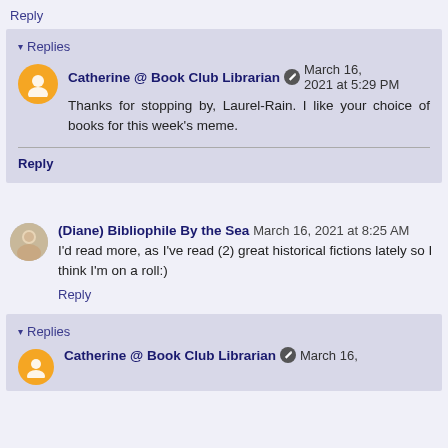Reply
▾ Replies
Catherine @ Book Club Librarian  March 16, 2021 at 5:29 PM
Thanks for stopping by, Laurel-Rain. I like your choice of books for this week's meme.
Reply
(Diane) Bibliophile By the Sea  March 16, 2021 at 8:25 AM
I'd read more, as I've read (2) great historical fictions lately so I think I'm on a roll:)
Reply
▾ Replies
Catherine @ Book Club Librarian  March 16,